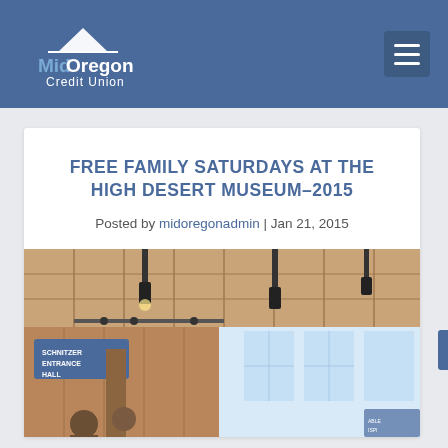Mid Oregon Credit Union
FREE FAMILY SATURDAYS AT THE HIGH DESERT MUSEUM–2015
Posted by midoregonadmin | Jan 21, 2015
[Figure (photo): Interior of the Schnitzer Entrance Hall at the High Desert Museum, showing wooden ceiling panels with pendant lights and visitors in the lobby.]